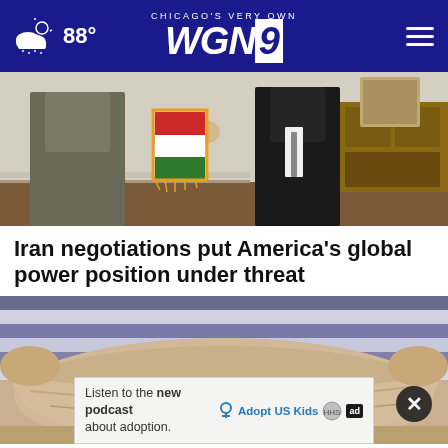Chicago's Very Own WGN9 — 88°
[Figure (photo): Two people shaking hands with an Iranian flag visible in what appears to be an official room with wooden furniture]
Iran negotiations put America's global power position under threat
[Figure (photo): Close-up of a person's midsection wearing a blue and white striped shirt]
Listen to the new podcast about adoption.